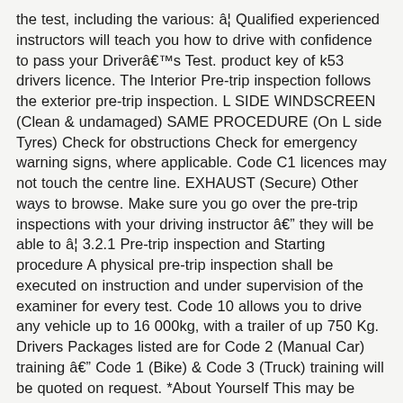the test, including the various: â¦ Qualified experienced instructors will teach you how to drive with confidence to pass your Driverâs Test. product key of k53 drivers licence. The Interior Pre-trip inspection follows the exterior pre-trip inspection. L SIDE WINDSCREEN (Clean & undamaged) SAME PROCEDURE (On L side Tyres) Check for obstructions Check for emergency warning signs, where applicable. Code C1 licences may not touch the centre line. EXHAUST (Secure) Other ways to browse. Make sure you go over the pre-trip inspections with your driving instructor â they will be able to â¦ 3.2.1 Pre-trip inspection and Starting procedure A physical pre-trip inspection shall be executed on instruction and under supervision of the examiner for every test. Code 10 allows you to drive any vehicle up to 16 000kg, with a trailer of up 750 Kg. Drivers Packages listed are for Code 2 (Manual Car) training â Code 1 (Bike) & Code 3 (Truck) training will be quoted on request. *About Yourself This may be shown publicly. WIPER RUBBER (Soft & secure) remember to lift wiper blades off the windscreen 5. bmw e30. A learnerâs license is required to